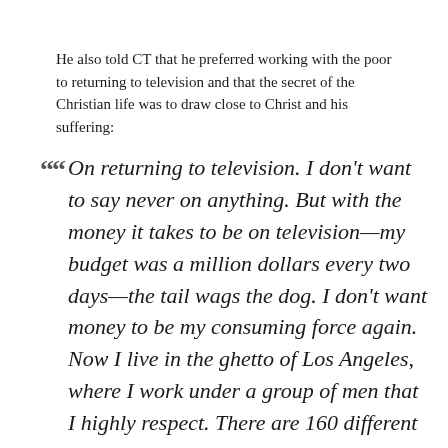He also told CT that he preferred working with the poor to returning to television and that the secret of the Christian life was to draw close to Christ and his suffering:
On returning to television. I don't want to say never on anything. But with the money it takes to be on television—my budget was a million dollars every two days—the tail wags the dog. I don't want money to be my consuming force again. Now I live in the ghetto of Los Angeles, where I work under a group of men that I highly respect. There are 160 different